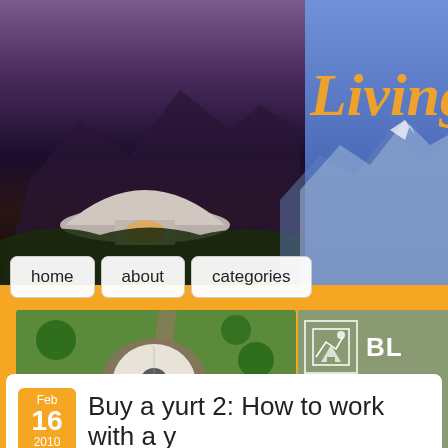[Figure (photo): Website header banner showing a yurt at dusk with mountains in background on left, blue mountain panorama on right with 'Living i' text in orange italic]
[Figure (screenshot): Navigation buttons: home, about, categories]
[Figure (photo): Blue Ridge Yurts advertisement showing aerial view of yurt with logo and email SALES@BLUERIDGEYU...]
Buy a yurt 2: How to work with a y
buying a yurt, Yurt Living, Yurt Manufacturers
[Figure (photo): Thumbnail of yurt in forest setting]